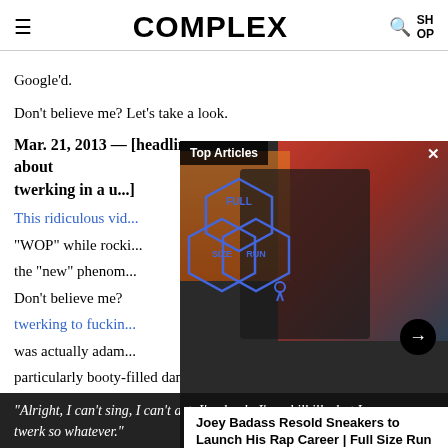COMPLEX
Google'd.
Don't believe me? Let's take a look.
Mar. 21, 2013 — [headline about twerking in a u...]
This ridiculous vid...
"WOP" while rocki...
the "new" phenom...
Don't believe me?
twerking to fuckin...
was actually adam...
particularly booty-filled dance taken away from her.
[Figure (screenshot): Overlay popup showing 'Top Articles' with Full Size Run logo and a photo of Joey Badass, with caption 'Joey Badass Resold Sneakers to Launch His Rap Career | Full Size Run']
"Alright, I can't sing, I can't act, I'm dumb, I'm a hilbilly, but I can twerk so whatever."